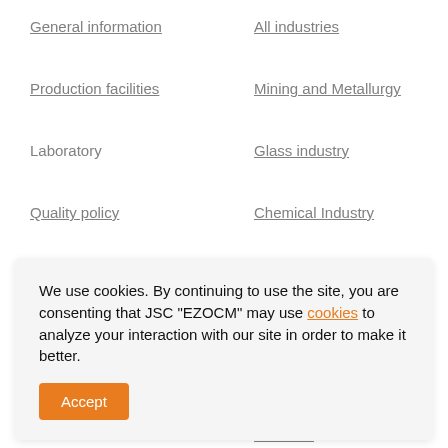General information
All industries
Production facilities
Mining and Metallurgy
Laboratory
Glass industry
Quality policy
Chemical Industry
Geography of sales
Automotive Components Industry
Electronics &Electrical Engineering
Medicine
We use cookies. By continuing to use the site, you are consenting that JSC "EZOCM" may use cookies to analyze your interaction with our site in order to make it better.
Analytical Services